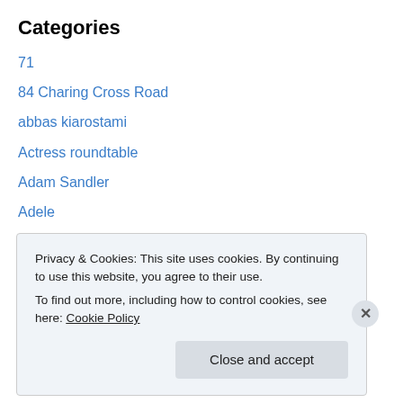Categories
71
84 Charing Cross Road
abbas kiarostami
Actress roundtable
Adam Sandler
Adele
alfred hitchcock
alps
Amour
Amy Adams
andrea riseborough
Privacy & Cookies: This site uses cookies. By continuing to use this website, you agree to their use. To find out more, including how to control cookies, see here: Cookie Policy